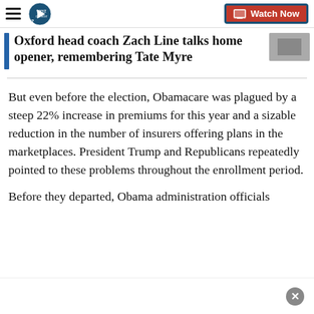WXYZ Detroit — Watch Now
Oxford head coach Zach Line talks home opener, remembering Tate Myre
But even before the election, Obamacare was plagued by a steep 22% increase in premiums for this year and a sizable reduction in the number of insurers offering plans in the marketplaces. President Trump and Republicans repeatedly pointed to these problems throughout the enrollment period.
Before they departed, Obama administration officials